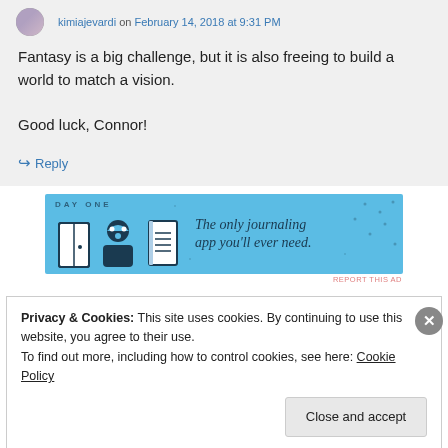kimiajevardi on February 14, 2018 at 9:31 PM
Fantasy is a big challenge, but it is also freeing to build a world to match a vision.

Good luck, Connor!
↪ Reply
[Figure (illustration): Day One journaling app advertisement banner with blue background, app icons, and text: 'The only journaling app you'll ever need.']
REPORT THIS AD
Privacy & Cookies: This site uses cookies. By continuing to use this website, you agree to their use.
To find out more, including how to control cookies, see here: Cookie Policy
Close and accept